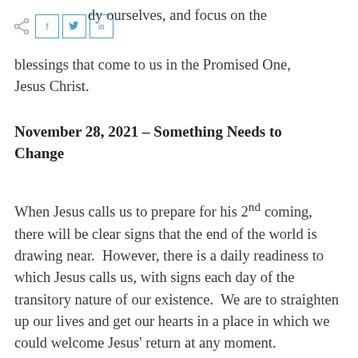dy ourselves, and focus on the blessings that come to us in the Promised One, Jesus Christ.
November 28, 2021 – Something Needs to Change
When Jesus calls us to prepare for his 2nd coming, there will be clear signs that the end of the world is drawing near.  However, there is a daily readiness to which Jesus calls us, with signs each day of the transitory nature of our existence.  We are to straighten up our lives and get our hearts in a place in which we could welcome Jesus' return at any moment.